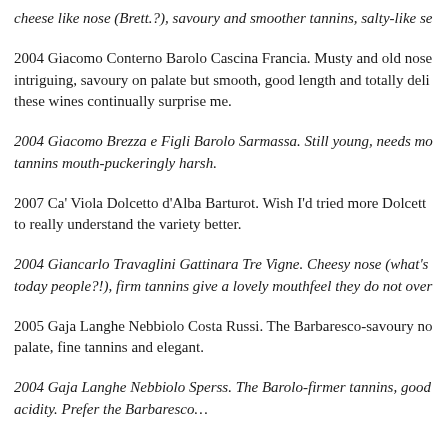cheese like nose (Brett.?), savoury and smoother tannins, salty-like se…
2004 Giacomo Conterno Barolo Cascina Francia. Musty and old nose… intriguing, savoury on palate but smooth, good length and totally deli… these wines continually surprise me.
2004 Giacomo Brezza e Figli Barolo Sarmassa. Still young, needs mo… tannins mouth-puckeringly harsh.
2007 Ca' Viola Dolcetto d'Alba Barturot. Wish I'd tried more Dolcett… to really understand the variety better.
2004 Giancarlo Travaglini Gattinara Tre Vigne. Cheesy nose (what's… today people?!), firm tannins give a lovely mouthfeel they do not over…
2005 Gaja Langhe Nebbiolo Costa Russi. The Barbaresco-savoury no… palate, fine tannins and elegant.
2004 Gaja Langhe Nebbiolo Sperss. The Barolo-firmer tannins, good… acidity. Prefer the Barbaresco…